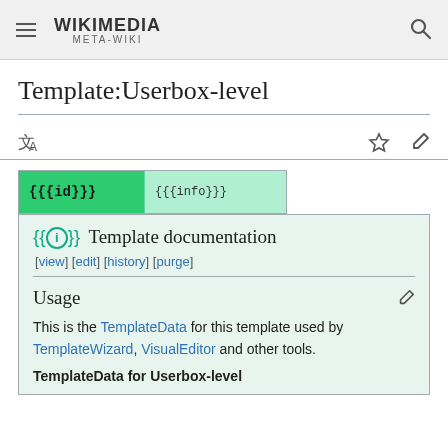WIKIMEDIA META-WIKI
Template:Userbox-level
[Figure (other): Userbox template preview showing '{{{id}}}' in green left cell and '{{{info}}}' in lighter green right cell]
{{i}} Template documentation
[view] [edit] [history] [purge]
Usage
This is the TemplateData for this template used by TemplateWizard, VisualEditor and other tools.
TemplateData for Userbox-level